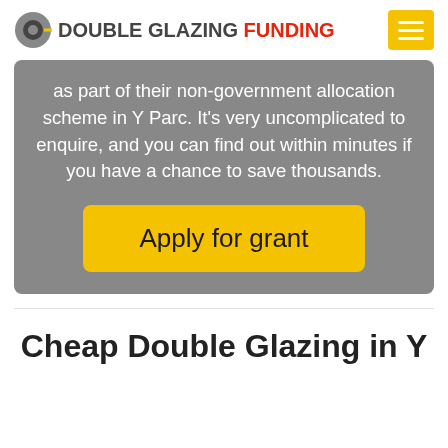DOUBLE GLAZING FUNDING
as part of their non-government allocation scheme in Y Parc. It's very uncomplicated to enquire, and you can find out within minutes if you have a chance to save thousands.
Apply for grant
Cheap Double Glazing in Y